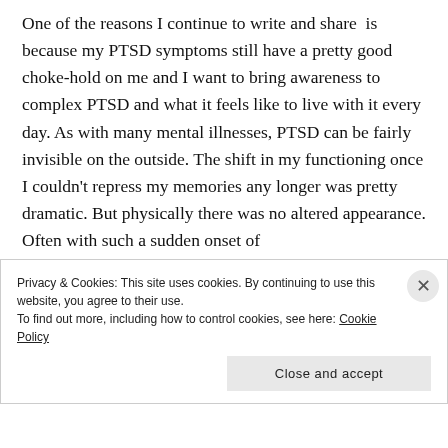One of the reasons I continue to write and share  is because my PTSD symptoms still have a pretty good choke-hold on me and I want to bring awareness to complex PTSD and what it feels like to live with it every day. As with many mental illnesses, PTSD can be fairly invisible on the outside. The shift in my functioning once I couldn't repress my memories any longer was pretty dramatic. But physically there was no altered appearance. Often with such a sudden onset of
Privacy & Cookies: This site uses cookies. By continuing to use this website, you agree to their use.
To find out more, including how to control cookies, see here: Cookie Policy